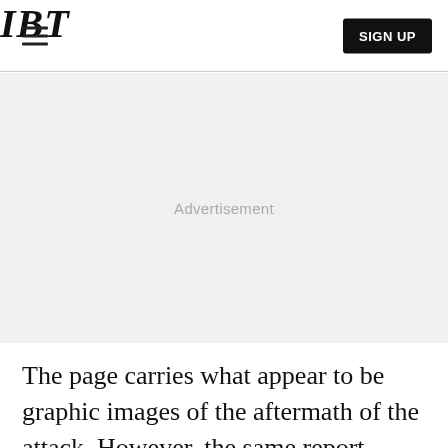IBT | SIGN UP
[Figure (other): Advertisement placeholder area with light gray background and 'Advertisement' label in gray text]
The page carries what appear to be graphic images of the aftermath of the attack. However, the same report continues: "Preliminary information suggests